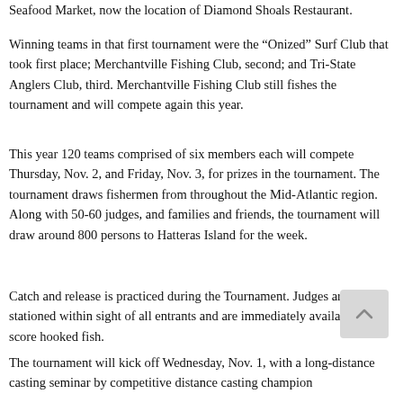Seafood Market, now the location of Diamond Shoals Restaurant.
Winning teams in that first tournament were the “Onized” Surf Club that took first place; Merchantville Fishing Club, second; and Tri-State Anglers Club, third. Merchantville Fishing Club still fishes the tournament and will compete again this year.
This year 120 teams comprised of six members each will compete Thursday, Nov. 2, and Friday, Nov. 3, for prizes in the tournament. The tournament draws fishermen from throughout the Mid-Atlantic region. Along with 50-60 judges, and families and friends, the tournament will draw around 800 persons to Hatteras Island for the week.
Catch and release is practiced during the Tournament. Judges are stationed within sight of all entrants and are immediately available to score hooked fish.
The tournament will kick off Wednesday, Nov. 1, with a long-distance casting seminar by competitive distance casting champion